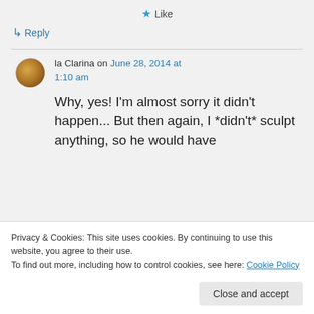★ Like
↳ Reply
la Clarina on June 28, 2014 at 1:10 am
Why, yes! I'm almost sorry it didn't happen... But then again, I *didn't* sculpt anything, so he would have
Privacy & Cookies: This site uses cookies. By continuing to use this website, you agree to their use.
To find out more, including how to control cookies, see here: Cookie Policy